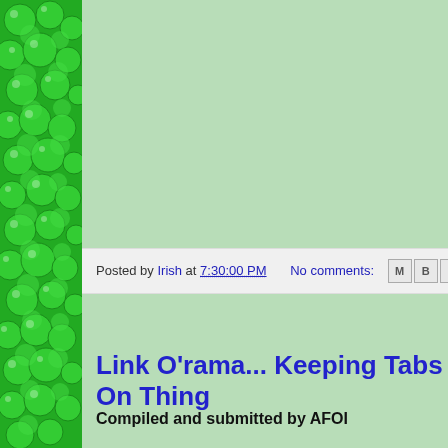[Figure (illustration): Green shamrock/clover pattern decorative sidebar on the left edge of the page]
Posted by Irish at 7:30:00 PM    No comments:
Link O'rama... Keeping Tabs On Thing
Compiled and submitted by AFOI